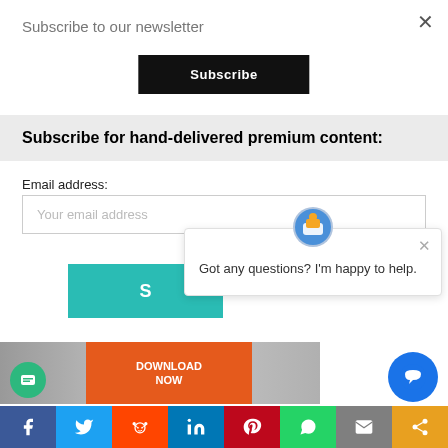Subscribe to our newsletter
×
Subscribe
Subscribe for hand-delivered premium content:
Email address:
Your email address
S
[Figure (screenshot): Chat bot popup with avatar icon and message: Got any questions? I'm happy to help.]
Got any questions? I'm happy to help.
DOWNLOAD NOW
[Figure (infographic): Social sharing bar with icons: Facebook, Twitter, Reddit, LinkedIn, Pinterest, WhatsApp, Email, Share]